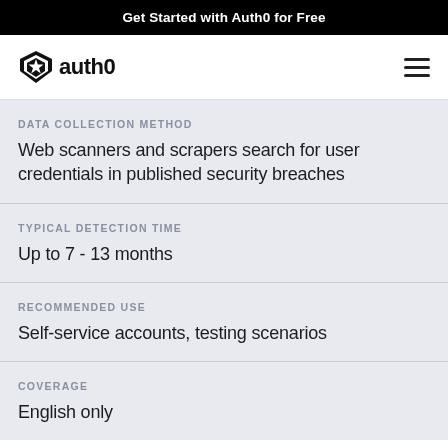Get Started with Auth0 for Free
[Figure (logo): Auth0 logo with shield star icon and wordmark 'auth0']
DATA COLLECTION METHOD
Web scanners and scrapers search for user credentials in published security breaches
TYPICAL DETECTION TIME
Up to 7 - 13 months
RECOMMENDED USE
Self-service accounts, testing scenarios
COVERAGE
English only